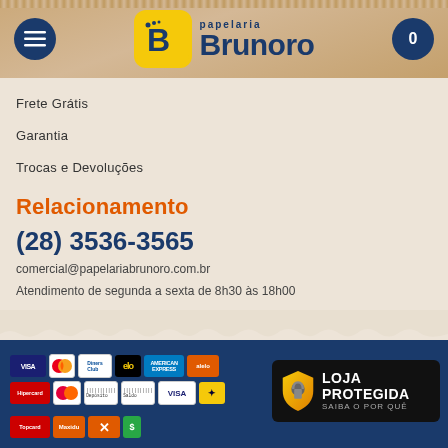[Figure (logo): Papelaria Brunoro logo with yellow B icon and dark blue text]
Frete Grátis
Garantia
Trocas e Devoluções
Relacionamento
(28) 3536-3565
comercial@papelariabrunoro.com.br
Atendimento de segunda a sexta de 8h30 às 18h00
[Figure (logo): Payment method badges: Visa, Mastercard, Diners Club, Elo, Amex, Alelo, Hipercard, Maestro, Boleto, Visa, BB, Topcard, Maxidu, X, S]
[Figure (logo): Loja Protegida security badge with shield icon]